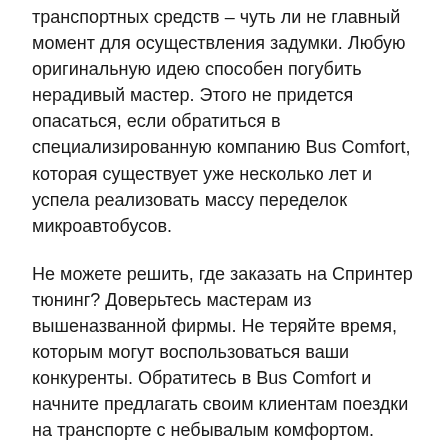транспортных средств – чуть ли не главный момент для осуществления задумки. Любую оригинальную идею способен погубить нерадивый мастер. Этого не придется опасаться, если обратиться в специализированную компанию Bus Comfort, которая существует уже несколько лет и успела реализовать массу переделок микроавтобусов.
Не можете решить, где заказать на Спринтер тюнинг? Доверьтесь мастерам из вышеназванной фирмы. Не теряйте время, которым могут воспользоваться ваши конкуренты. Обратитесь в Bus Comfort и начните предлагать своим клиентам поездки на транспорте с небывалым комфортом.